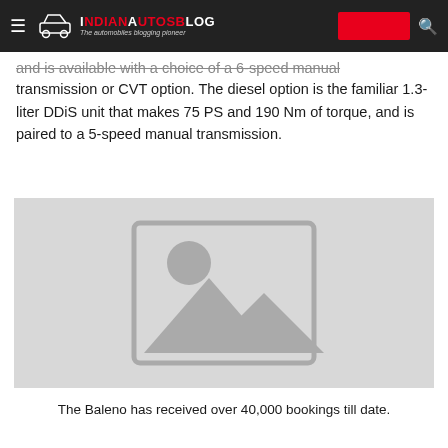IndianAutosBlog — The automobiles blogging pioneer
and is available with a choice of a 6-speed manual transmission or CVT option. The diesel option is the familiar 1.3-liter DDiS unit that makes 75 PS and 190 Nm of torque, and is paired to a 5-speed manual transmission.
[Figure (photo): Placeholder image with generic image icon (mountains and sun)]
The Baleno has received over 40,000 bookings till date.